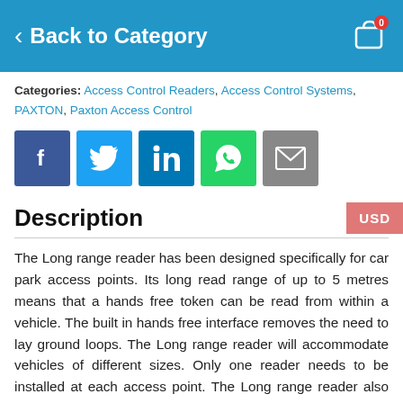Back to Category
Categories: Access Control Readers, Access Control Systems, PAXTON, Paxton Access Control
[Figure (other): Social sharing buttons: Facebook, Twitter, LinkedIn, WhatsApp, Email]
Description
The Long range reader has been designed specifically for car park access points. Its long read range of up to 5 metres means that a hands free token can be read from within a vehicle. The built in hands free interface removes the need to lay ground loops. The Long range reader will accommodate vehicles of different sizes. Only one reader needs to be installed at each access point. The Long range reader also works as a close proximity reader so that users